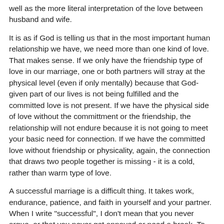well as the more literal interpretation of the love between husband and wife.
It is as if God is telling us that in the most important human relationship we have, we need more than one kind of love. That makes sense. If we only have the friendship type of love in our marriage, one or both partners will stray at the physical level (even if only mentally) because that God-given part of our lives is not being fulfilled and the committed love is not present. If we have the physical side of love without the committment or the friendship, the relationship will not endure because it is not going to meet your basic need for connection. If we have the committed love without friendship or physicality, again, the connection that draws two people together is missing - it is a cold, rather than warm type of love.
A successful marriage is a difficult thing. It takes work, endurance, patience, and faith in yourself and your partner. When I write "successful", I don't mean that you never argue, or that you never get annoyed or need a break. To me, a successful marriage is one in which the husband and wife